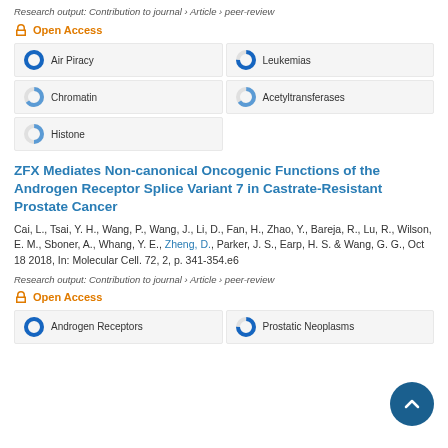Research output: Contribution to journal › Article › peer-review
Open Access
[Figure (infographic): Five keyword badges with donut-chart fill indicators: Air Piracy (100%), Leukemias (~75%), Chromatin (~65%), Acetyltransferases (~65%), Histone (~50%)]
ZFX Mediates Non-canonical Oncogenic Functions of the Androgen Receptor Splice Variant 7 in Castrate-Resistant Prostate Cancer
Cai, L., Tsai, Y. H., Wang, P., Wang, J., Li, D., Fan, H., Zhao, Y., Bareja, R., Lu, R., Wilson, E. M., Sboner, A., Whang, Y. E., Zheng, D., Parker, J. S., Earp, H. S. & Wang, G. G., Oct 18 2018, In: Molecular Cell. 72, 2, p. 341-354.e6
Research output: Contribution to journal › Article › peer-review
Open Access
[Figure (infographic): Two visible keyword badges: Androgen Receptors (100%), Prostatic Neoplasms (~75%), and partial rows below]